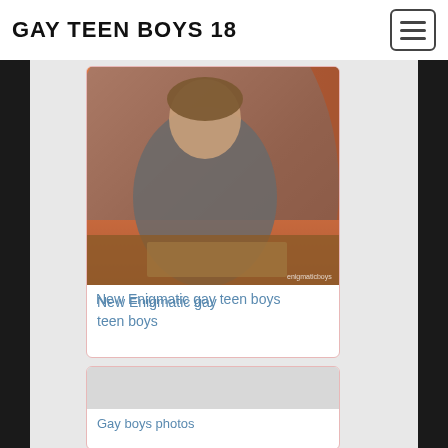GAY TEEN BOYS 18
[Figure (photo): Photo of a young person sitting on furniture with orange curtains in background, wearing a grey hoodie]
New Enigmatic gay teen boys
[Figure (photo): Partially visible photo placeholder, light grey]
Gay boys photos